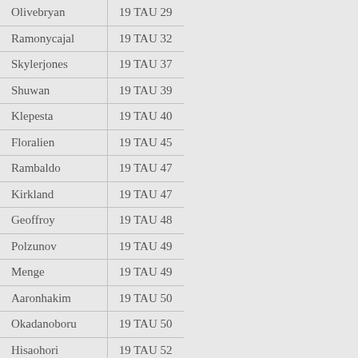| Name | Designation |
| --- | --- |
| Olivebryan | 19 TAU 29 |
| Ramonycajal | 19 TAU 32 |
| Skylerjones | 19 TAU 37 |
| Shuwan | 19 TAU 39 |
| Klepesta | 19 TAU 40 |
| Floralien | 19 TAU 45 |
| Rambaldo | 19 TAU 47 |
| Kirkland | 19 TAU 47 |
| Geoffroy | 19 TAU 48 |
| Polzunov | 19 TAU 49 |
| Menge | 19 TAU 49 |
| Aaronhakim | 19 TAU 50 |
| Okadanoboru | 19 TAU 50 |
| Hisaohori | 19 TAU 52 |
| Hourenzhi | 19 TAU 55 |